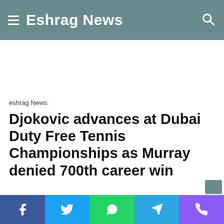Eshrag News
eshrag News:
Djokovic advances at Dubai Duty Free Tennis Championships as Murray denied 700th career win